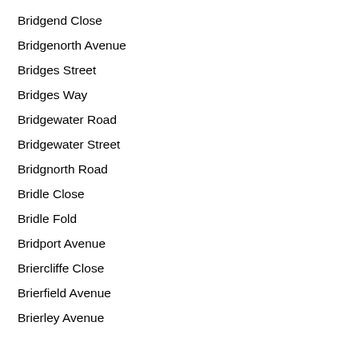Bridgend Close
Bridgenorth Avenue
Bridges Street
Bridges Way
Bridgewater Road
Bridgewater Street
Bridgnorth Road
Bridle Close
Bridle Fold
Bridport Avenue
Briercliffe Close
Brierfield Avenue
Brierley Avenue